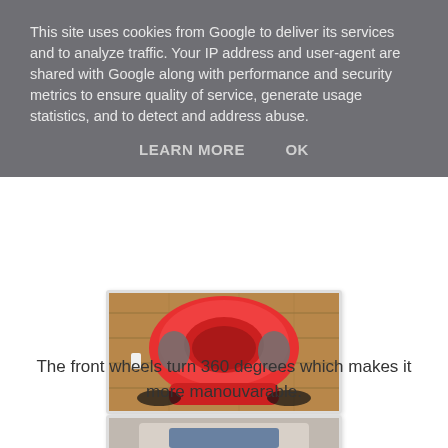This site uses cookies from Google to deliver its services and to analyze traffic. Your IP address and user-agent are shared with Google along with performance and security metrics to ensure quality of service, generate usage statistics, and to detect and address abuse.
LEARN MORE   OK
[Figure (photo): Close-up photo of the bottom/front of a red toy vehicle showing two front wheels on a wooden floor background]
The front wheels turn 360 degrees which makes it more manouvarable.
[Figure (photo): Partial photo of another view of the toy vehicle, partially visible at the bottom of the page]